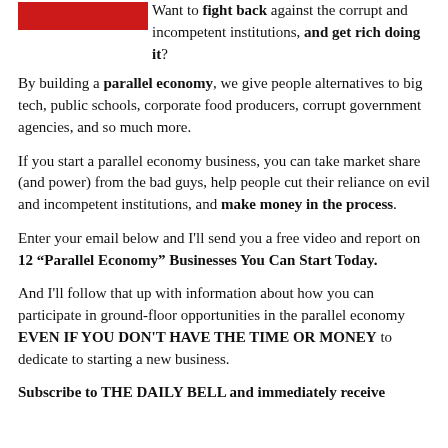[Figure (logo): Red logo/banner image at top left]
Want to fight back against the corrupt and incompetent institutions, and get rich doing it?
By building a parallel economy, we give people alternatives to big tech, public schools, corporate food producers, corrupt government agencies, and so much more.
If you start a parallel economy business, you can take market share (and power) from the bad guys, help people cut their reliance on evil and incompetent institutions, and make money in the process.
Enter your email below and I'll send you a free video and report on 12 “Parallel Economy” Businesses You Can Start Today.
And I'll follow that up with information about how you can participate in ground-floor opportunities in the parallel economy EVEN IF YOU DON'T HAVE THE TIME OR MONEY to dedicate to starting a new business.
Subscribe to THE DAILY BELL and immediately receive